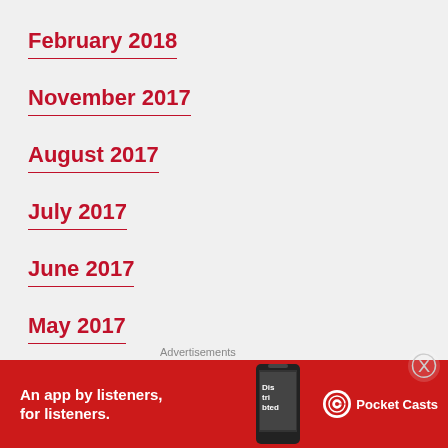February 2018
November 2017
August 2017
July 2017
June 2017
May 2017
April 2017
March 2017
Advertisements
[Figure (other): Pocket Casts advertisement banner: 'An app by listeners, for listeners.' with phone graphic and Pocket Casts logo on red background]